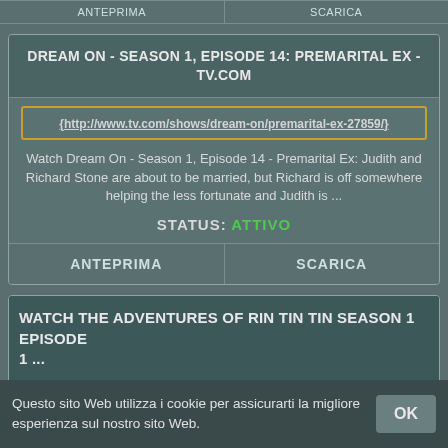| ANTEPRIMA | SCARICA |
| --- | --- |
DREAM ON - SEASON 1, EPISODE 14: PREMARITAL EX - TV.COM
http://www.tv.com/shows/dream-on/premarital-ex-27859/
Watch Dream On - Season 1, Episode 14 - Premarital Ex: Judith and Richard Stone are about to be married, but Richard is off somewhere helping the less fortunate and Judith is ...
STATUS: ATTIVO
| ANTEPRIMA | SCARICA |
| --- | --- |
WATCH THE ADVENTURES OF RIN TIN TIN SEASON 1 EPISODE 1 ...
https://www.tvguide.com/tvshows/the-adventures-of-rin-tin-tin/ep
Questo sito Web utilizza i cookie per assicurarti la migliore esperienza sul nostro sito Web.
OK